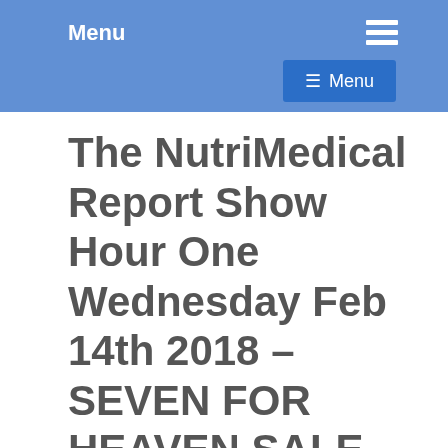Menu
The NutriMedical Report Show Hour One Wednesday Feb 14th 2018 – SEVEN FOR HEAVEN SALE 7%OFF, COUPON HEART AT CHECKOUT, Lowell Ponte, Courting